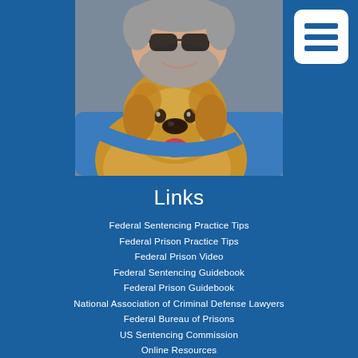[Figure (photo): A smiling man with sunglasses and gray beard hugging a golden retriever dog, close-up portrait against a gray background.]
Links
Federal Sentencing Practice Tips
Federal Prison Practice Tips
Federal Prison Video
Federal Sentencing Guidebook
Federal Prison Guidebook
National Association of Criminal Defense Lawyers
Federal Bureau of Prisons
US Sentencing Commission
Online Resources
Good Time Credit Calculation Table